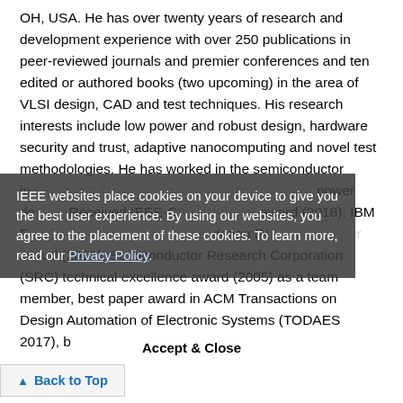OH, USA. He has over twenty years of research and development experience with over 250 publications in peer-reviewed journals and premier conferences and ten edited or authored books (two upcoming) in the area of VLSI design, CAD and test techniques. His research interests include low power and robust design, hardware security and trust, adaptive nanocomputing and novel test methodologies. He has worked in the semiconductor industry at CTI, placed in classification, and low power design. Received IEEE-CS best paper award (2018), IBM Faculty Award, NSF recommendation (NSF) best paper award (2011), Semiconductor Research Corporation (SRC) technical excellence award (2005) as a team member, best paper award in ACM Transactions on Design Automation of Electronic Systems (TODAES 2017), best paper award in IEEE
IEEE websites place cookies on your device to give you the best user experience. By using our websites, you agree to the placement of these cookies. To learn more, read our Privacy Policy.
Accept & Close
Back to Top